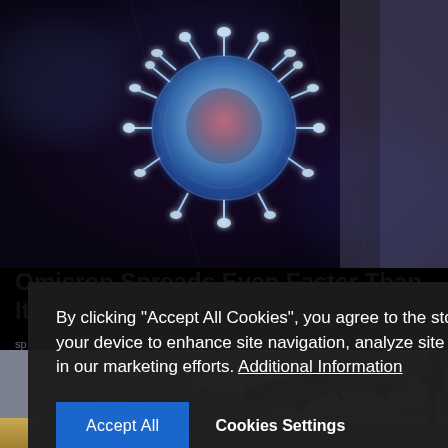[Figure (photo): Close-up digital illustration of a coronavirus particle with spiky protein projections, blue and red tones, on a dark background]
Omicron Spreads Even Faster Than Its Predecessors
sp
[Figure (photo): Toy/model sharks in an aquarium diorama setting with sand and coral on a gray background]
By clicking "Accept All Cookies", you agree to the storing of cookies on your device to enhance site navigation, analyze site usage, and assist in our marketing efforts. Additional Information
Accept All | Cookies Settings